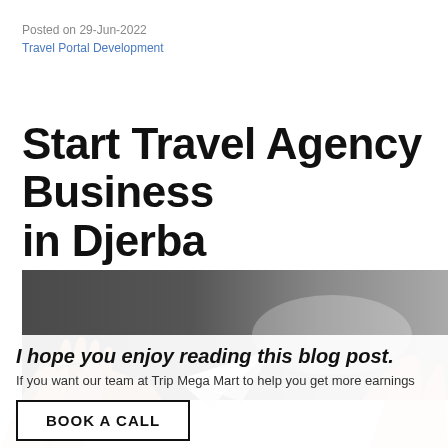Posted on 29-Jun-2022
Travel Portal Development
Start Travel Agency Business in Djerba
[Figure (photo): Hands on a dark surface with a paper airplane, representing travel and business planning]
I hope you enjoy reading this blog post.
If you want our team at Trip Mega Mart to help you get more earnings
BOOK A CALL